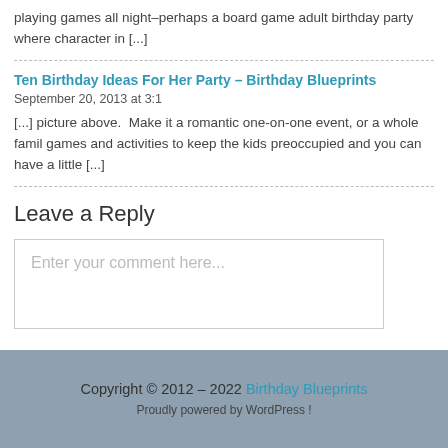playing games all night–perhaps a board game adult birthday party where character in [...]
Ten Birthday Ideas For Her Party – Birthday Blueprints September 20, 2013 at 3:1
[...] picture above.  Make it a romantic one-on-one event, or a whole family games and activities to keep the kids preoccupied and you can have a little [...]
Leave a Reply
Enter your comment here...
Copyright © 2012 – 2022 Birthday Blueprints | Proudly powered by WordPress!